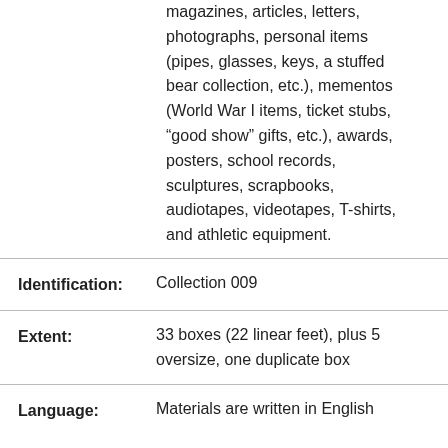magazines, articles, letters, photographs, personal items (pipes, glasses, keys, a stuffed bear collection, etc.), mementos (World War I items, ticket stubs, “good show” gifts, etc.), awards, posters, school records, sculptures, scrapbooks, audiotapes, videotapes, T-shirts, and athletic equipment.
Identification: Collection 009
Extent: 33 boxes (22 linear feet), plus 5 oversize, one duplicate box
Language: Materials are written in English